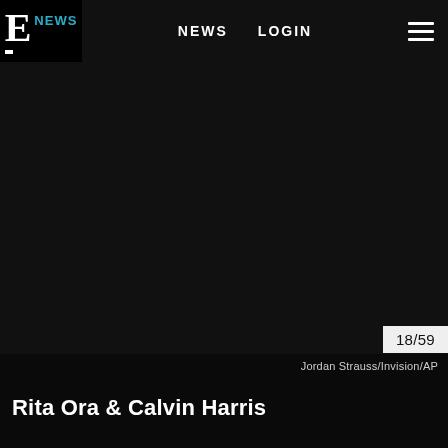E! NEWS   NEWS   LOGIN
[Figure (photo): Dark/black main image area showing a photo gallery viewer for E! News]
18/59
Jordan Strauss/Invision/AP
Rita Ora & Calvin Harris